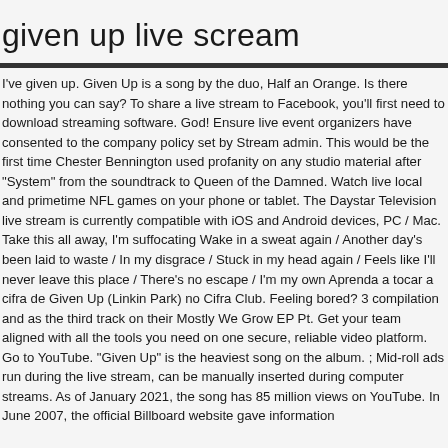given up live scream
I've given up. Given Up is a song by the duo, Half an Orange. Is there nothing you can say? To share a live stream to Facebook, you'll first need to download streaming software. God! Ensure live event organizers have consented to the company policy set by Stream admin. This would be the first time Chester Bennington used profanity on any studio material after "System" from the soundtrack to Queen of the Damned. Watch live local and primetime NFL games on your phone or tablet. The Daystar Television live stream is currently compatible with iOS and Android devices, PC / Mac. Take this all away, I'm suffocating Wake in a sweat again / Another day's been laid to waste / In my disgrace / Stuck in my head again / Feels like I'll never leave this place / There's no escape / I'm my own Aprenda a tocar a cifra de Given Up (Linkin Park) no Cifra Club. Feeling bored? 3 compilation and as the third track on their Mostly We Grow EP Pt. Get your team aligned with all the tools you need on one secure, reliable video platform. Go to YouTube. "Given Up" is the heaviest song on the album. ; Mid-roll ads run during the live stream, can be manually inserted during computer streams. As of January 2021, the song has 85 million views on YouTube. In June 2007, the official Billboard website gave information